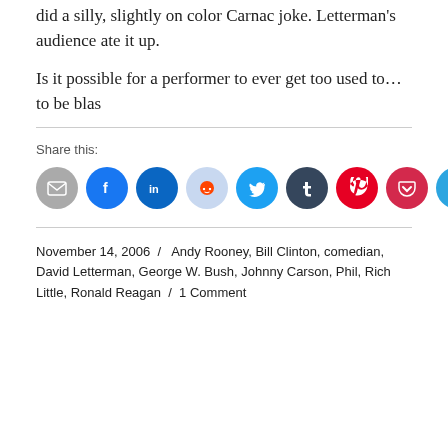did a silly, slightly on color Carnac joke. Letterman's audience ate it up.
Is it possible for a performer to ever get too used to… to be blas
Share this:
[Figure (infographic): Row of social share icon buttons: Email, Facebook, LinkedIn, Reddit, Twitter, Tumblr, Pinterest, Pocket, Telegram, WhatsApp]
November 14, 2006 / Andy Rooney, Bill Clinton, comedian, David Letterman, George W. Bush, Johnny Carson, Phil, Rich Little, Ronald Reagan / 1 Comment